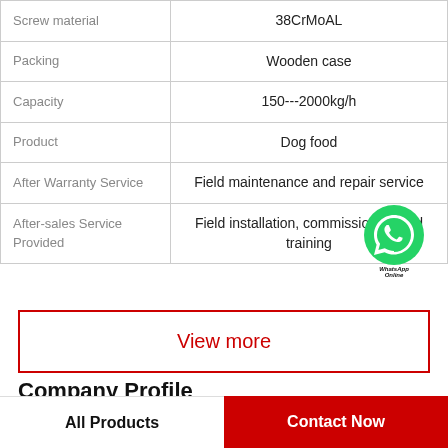| Property | Value |
| --- | --- |
| Screw material | 38CrMoAL |
| Packing | Wooden case |
| Capacity | 150---2000kg/h |
| Product | Dog food |
| After Warranty Service | Field maintenance and repair service |
| After-sales Service Provided | Field installation, commissioning and training |
View more
Company Profile
All Products
Contact Now